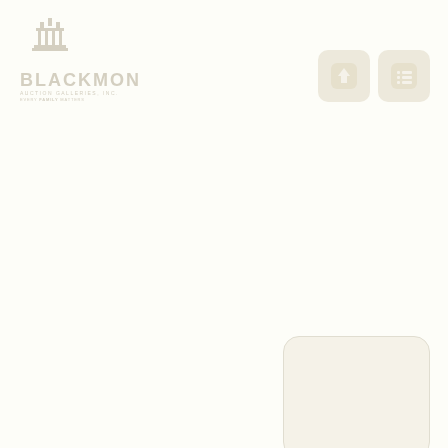[Figure (logo): Blackmon Auctions logo with stylized building/crown icon and company name text]
[Figure (other): Navigation UI buttons: upload arrow button and menu/list button, rounded square icons in beige/cream color]
[Figure (other): Rounded rectangle card widget in bottom right corner, cream/beige colored]